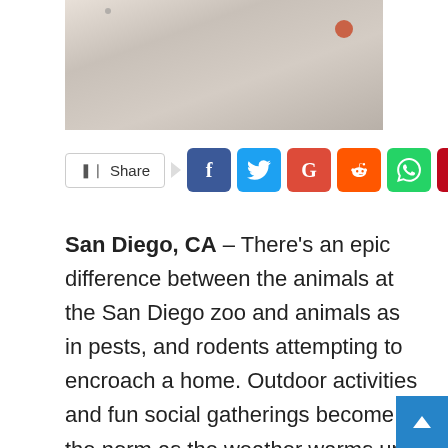[Figure (photo): Top portion of a photo showing a light-colored surface (possibly sand or light stone) with a small red/orange insect or bug visible in the upper right area.]
[Figure (infographic): Social share bar with a Share button followed by social media icons: Facebook (blue), Twitter (light blue), Google+ (red), Reddit (orange), WhatsApp (green), Pinterest (dark red), Email (dark gray).]
San Diego, CA – There's an epic difference between the animals at the San Diego zoo and animals as in pests, and rodents attempting to encroach a home. Outdoor activities and fun social gatherings become the norm as the weather warms up. However, an unwanted and creepy fellows showing up can stop all the fun on the tracks. To ensure the fun goes on uninterrupted and in a safe space, call Mission Pest Control. It's a well-known pest exterminator